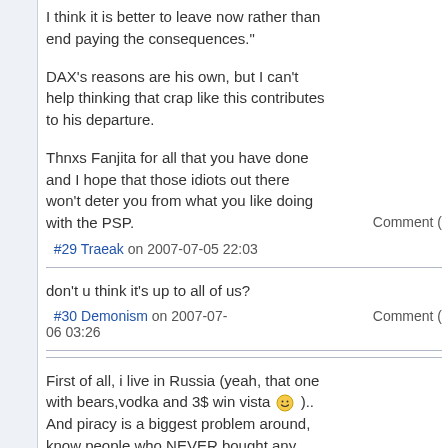I think it is better to leave now rather than end paying the consequences."
DAX's reasons are his own, but I can't help thinking that crap like this contributes to his departure.
Thnxs Fanjita for all that you have done and I hope that those idiots out there won't deter you from what you like doing with the PSP.
#29 Traeak on 2007-07-05 22:03
don't u think it's up to all of us?
#30 Demonism on 2007-07-06 03:26
First of all, i live in Russia (yeah, that one with bears,vodka and 3$ win vista  ).. And piracy is a biggest problem around, know people who NEVER bought any umd except demo (they buy base pack